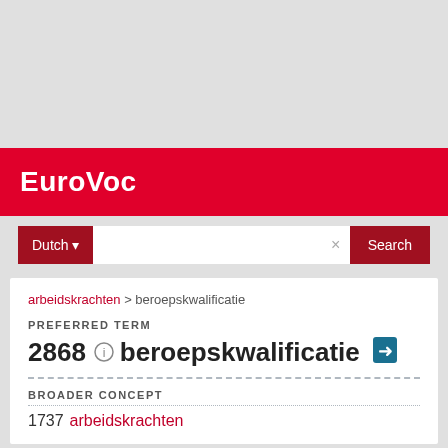EuroVoc
Dutch | Search
arbeidskrachten > beroepskwalificatie
PREFERRED TERM
2868 beroepskwalificatie
BROADER CONCEPT
1737 arbeidskrachten